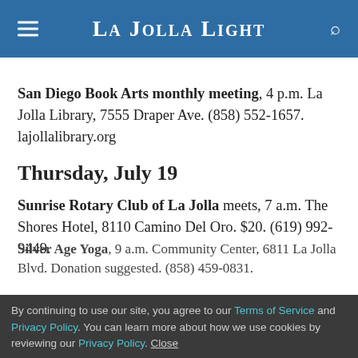La Jolla Light
San Diego Book Arts monthly meeting, 4 p.m. La Jolla Library, 7555 Draper Ave. (858) 552-1657. lajollalibrary.org
Thursday, July 19
Sunrise Rotary Club of La Jolla meets, 7 a.m. The Shores Hotel, 8110 Camino Del Oro. $20. (619) 992-9449.
Silver Age Yoga, 9 a.m. Community Center, 6811 La Jolla Blvd. Donation suggested. (858) 459-0831.
By continuing to use our site, you agree to our Terms of Service and Privacy Policy. You can learn more about how we use cookies by reviewing our Privacy Policy. Close